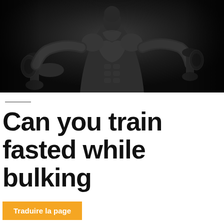[Figure (photo): Black and white photo of a muscular bodybuilder holding dumbbells, dramatic low-key lighting against dark background]
Can you train fasted while bulking
Traduire la page